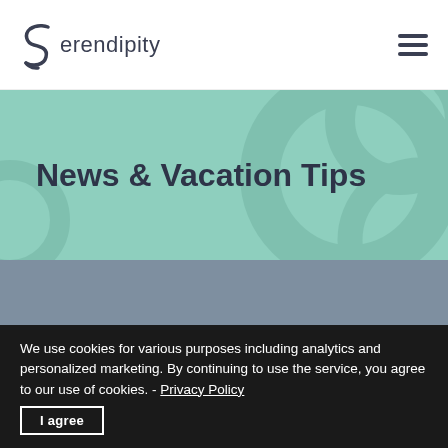Serendipity
News & Vacation Tips
[Figure (other): Gray placeholder content area below the teal banner]
We use cookies for various purposes including analytics and personalized marketing. By continuing to use the service, you agree to our use of cookies. - Privacy Policy
I agree